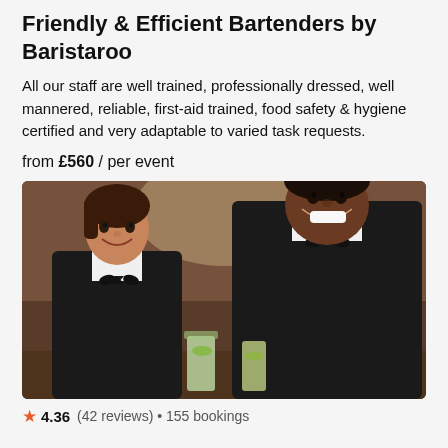Friendly & Efficient Bartenders by Baristaroo
All our staff are well trained, professionally dressed, well mannered, reliable, first-aid trained, food safety & hygiene certified and very adaptable to varied task requests.
from £560 / per event
[Figure (photo): Two professional bartenders in black vests and bow-ties smiling at camera, holding cocktail drinks, in a restaurant/bar setting.]
4.36 (42 reviews) • 155 bookings